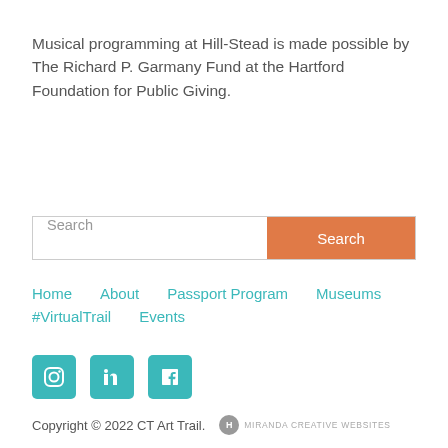Musical programming at Hill-Stead is made possible by The Richard P. Garmany Fund at the Hartford Foundation for Public Giving.
[Figure (screenshot): Search bar with text input and orange Search button]
Home
About
Passport Program
Museums
#VirtualTrail
Events
[Figure (illustration): Social media icons: Instagram, LinkedIn, Facebook in teal/green rounded squares]
Copyright © 2022 CT Art Trail.  Miranda Creative Websites